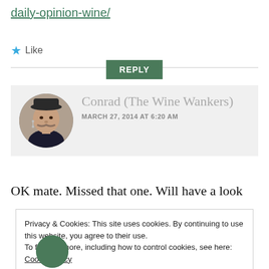daily-opinion-wine/
Like
[Figure (other): Reply button with horizontal divider line]
[Figure (photo): User avatar: man with mustache, hat, and earrings. Comment box with gray background showing name 'Conrad (The Wine Wankers)' and date 'MARCH 27, 2014 AT 6:20 AM']
OK mate. Missed that one. Will have a look
Privacy & Cookies: This site uses cookies. By continuing to use this website, you agree to their use.
To find out more, including how to control cookies, see here: Cookie Policy
Close and accept
[Figure (photo): Partial green avatar at bottom of page]